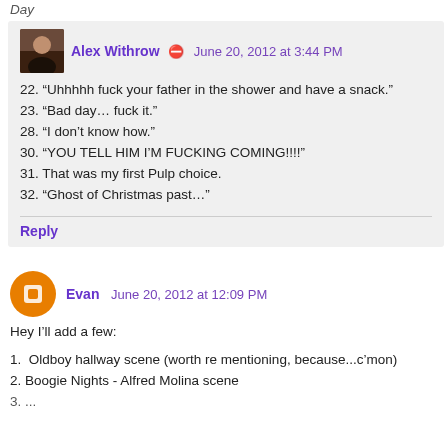Day
Alex Withrow  June 20, 2012 at 3:44 PM
22. “Uhhhhh fuck your father in the shower and have a snack.”
23. “Bad day… fuck it.”
28. “I don't know how.”
30. “YOU TELL HIM I’M FUCKING COMING!!!!”
31. That was my first Pulp choice.
32. “Ghost of Christmas past…”
Reply
Evan  June 20, 2012 at 12:09 PM
Hey I'll add a few:
1.  Oldboy hallway scene (worth re mentioning, because...c’mon)
2. Boogie Nights - Alfred Molina scene
3. ...